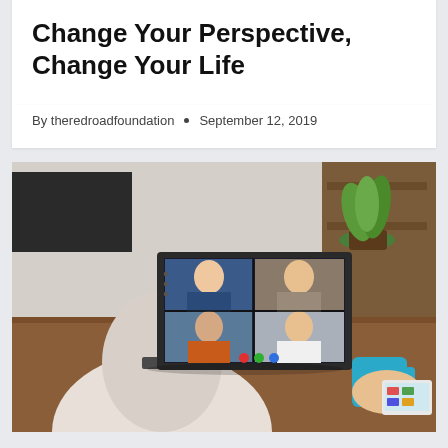Change Your Perspective, Change Your Life
By theredroadfoundation • September 12, 2019
[Figure (photo): Person holding a blue mug, viewed from behind, looking at a laptop screen showing a video call with four participants (two men and two women in a 2x2 grid). A green plant is visible in the background on a wooden desk.]